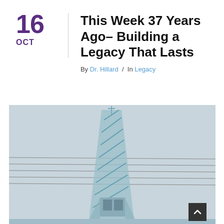16 OCT
This Week 37 Years Ago– Building a Legacy That Lasts
By Dr. Hillard / In Legacy
[Figure (photo): A church steeple with diagonal stripes/lines photographed from below against a pale grey-blue sky, with power lines crossing the frame horizontally.]